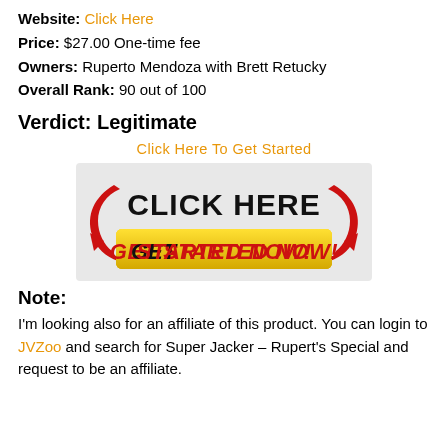Website: Click Here
Price: $27.00 One-time fee
Owners: Ruperto Mendoza with Brett Retucky
Overall Rank: 90 out of 100
Verdict: Legitimate
Click Here To Get Started
[Figure (illustration): Yellow button graphic with red curved arrows on sides, text 'CLICK HERE' in black bold at top and 'GET STARTED NOW!' in red bold italic on yellow banner below, on light gray background]
Note:
I'm looking also for an affiliate of this product. You can login to JVZoo and search for Super Jacker – Rupert's Special and request to be an affiliate.